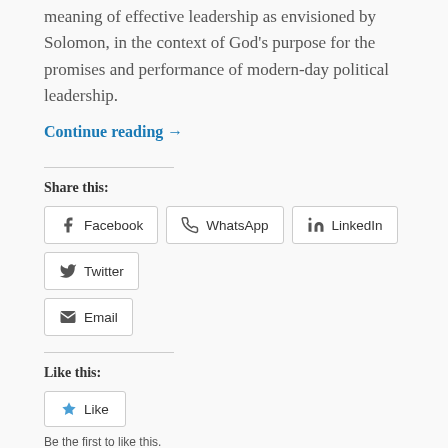meaning of effective leadership as envisioned by Solomon, in the context of God's purpose for the promises and performance of modern-day political leadership.
Continue reading →
Share this:
Facebook
WhatsApp
LinkedIn
Twitter
Email
Like this:
Like
Be the first to like this.
Filed under: